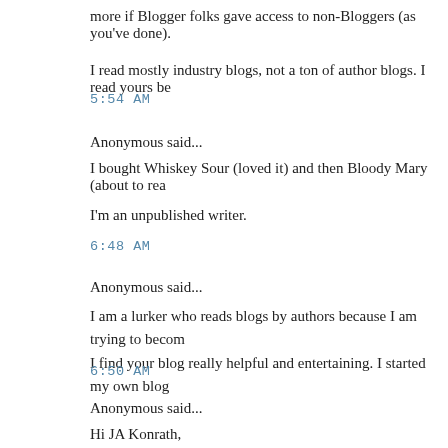more if Blogger folks gave access to non-Bloggers (as you've done).
I read mostly industry blogs, not a ton of author blogs. I read yours be
5:54 AM
Anonymous said...
I bought Whiskey Sour (loved it) and then Bloody Mary (about to rea
I'm an unpublished writer.
6:48 AM
Anonymous said...
I am a lurker who reads blogs by authors because I am trying to becom I find your blog really helpful and entertaining. I started my own blog
6:50 AM
Anonymous said...
Hi JA Konrath,